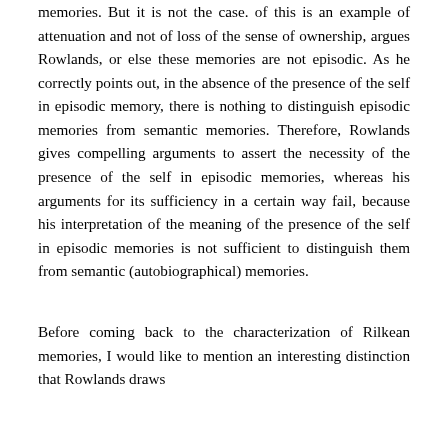memories. But it is not the case. of this is an example of attenuation and not of loss of the sense of ownership, argues Rowlands, or else these memories are not episodic. As he correctly points out, in the absence of the presence of the self in episodic memory, there is nothing to distinguish episodic memories from semantic memories. Therefore, Rowlands gives compelling arguments to assert the necessity of the presence of the self in episodic memories, whereas his arguments for its sufficiency in a certain way fail, because his interpretation of the meaning of the presence of the self in episodic memories is not sufficient to distinguish them from semantic (autobiographical) memories.
Before coming back to the characterization of Rilkean memories, I would like to mention an interesting distinction that Rowlands draws